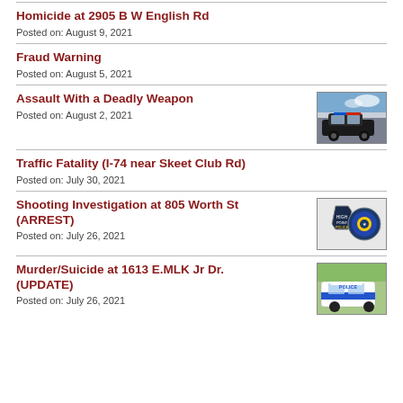Homicide at 2905 B W English Rd
Posted on: August 9, 2021
Fraud Warning
Posted on: August 5, 2021
Assault With a Deadly Weapon
Posted on: August 2, 2021
[Figure (photo): Police car parked outdoors]
Traffic Fatality (I-74 near Skeet Club Rd)
Posted on: July 30, 2021
Shooting Investigation at 805 Worth St (ARREST)
Posted on: July 26, 2021
[Figure (photo): Police department badges/logos]
Murder/Suicide at 1613 E.MLK Jr Dr. (UPDATE)
Posted on: July 26, 2021
[Figure (photo): Police car with blue stripe]